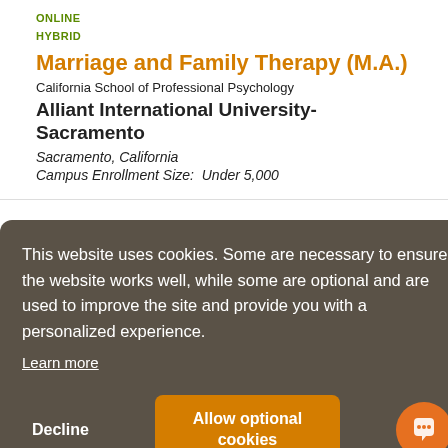ONLINE
HYBRID
Marriage and Family Therapy (M.A.)
California School of Professional Psychology
Alliant International University-Sacramento
Sacramento, California
Campus Enrollment Size:  Under 5,000
This website uses cookies. Some are necessary to ensure the website works well, while some are optional and are used to improve the site and provide you with a personalized experience.
Learn more
Decline
Allow optional cookies
Alliant International University-